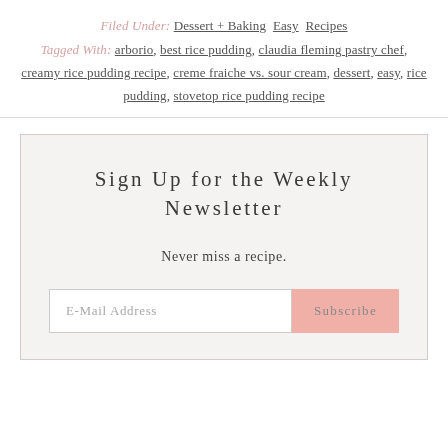Filed Under: Dessert + Baking  Easy  Recipes
Tagged With: arborio, best rice pudding, claudia fleming pastry chef, creamy rice pudding recipe, creme fraiche vs. sour cream, dessert, easy, rice pudding, stovetop rice pudding recipe
Sign Up for the Weekly Newsletter
Never miss a recipe.
E-Mail Address  Subscribe